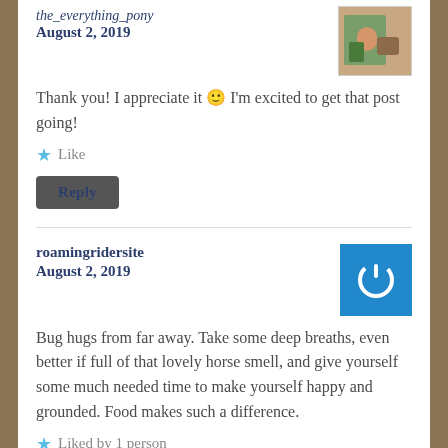the_everything_pony
August 2, 2019
[Figure (photo): User avatar photo showing a person with a horse outdoors]
Thank you! I appreciate it 🙂 I'm excited to get that post going!
★ Like
Reply
roamingridersite
August 2, 2019
[Figure (logo): Blue square with white power button icon — WordPress default avatar]
Bug hugs from far away. Take some deep breaths, even better if full of that lovely horse smell, and give yourself some much needed time to make yourself happy and grounded. Food makes such a difference.
★ Liked by 1 person
Reply